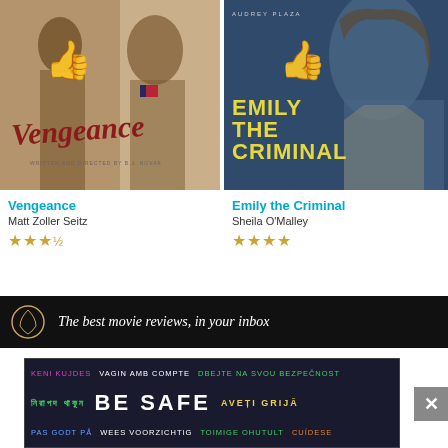[Figure (photo): Movie poster for Vengeance with illustrated characters and stylized title text over a warm-toned background]
[Figure (photo): Movie poster for Emily the Criminal featuring a close-up of Aubrey Plaza over a dark blue background with yellow title text]
Vengeance
Matt Zoller Seitz
★★★½
Emily the Criminal
Sheila O'Malley
★★★★
[Figure (screenshot): Newsletter signup banner: circular logo and text 'The best movie reviews, in your inbox']
[Figure (screenshot): Safety advertisement banner with multilingual text including 'KENI KUJDES', 'VAGIN AMB COMPTE', 'DBEJTE NA SVOU BEZPEČNOST', 'নিরাপদ থাকুন', 'BE SAFE', 'AVEȚI GRIJĂ', 'PAS GODT PÅ', 'WEES VOORZICHTIG', 'TOIMIGE OHUTULT', 'CUÍDESE']